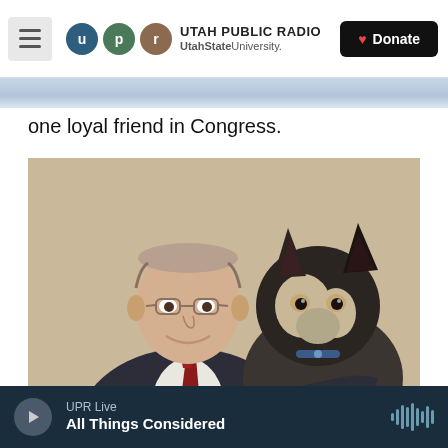Utah Public Radio — UtahState University — Donate
one loyal friend in Congress.
[Figure (photo): A man in a dark suit and red tie smiling while holding a small black and tan husky or Alaskan Klee Kai dog, posed against a beige wall background.]
UPR Live — All Things Considered